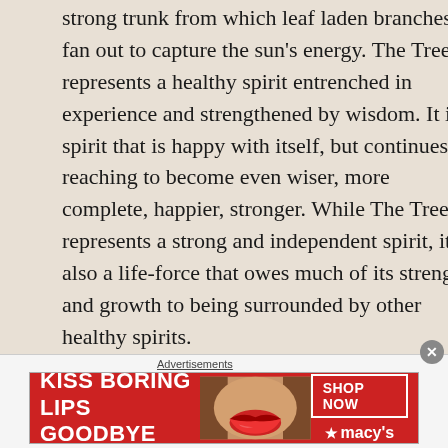strong trunk from which leaf laden branches fan out to capture the sun's energy. The Tree represents a healthy spirit entrenched in experience and strengthened by wisdom. It is a spirit that is happy with itself, but continues reaching to become even wiser, more complete, happier, stronger. While The Tree represents a strong and independent spirit, it is also a life-force that owes much of its strength and growth to being surrounded by other healthy spirits.

As a daily card, The Tree denotes a time when your spiritual self is especially powerful and open for further growth. Now is a time for you to seek out streams of wisdom and knowledge that you can not only draw from but contribute to as well. Don't disregard sources that
Advertisements
[Figure (infographic): Advertisement banner for Macy's lipstick: red background with text 'KISS BORING LIPS GOODBYE', image of woman's lips/face, 'SHOP NOW' button, and Macy's star logo]